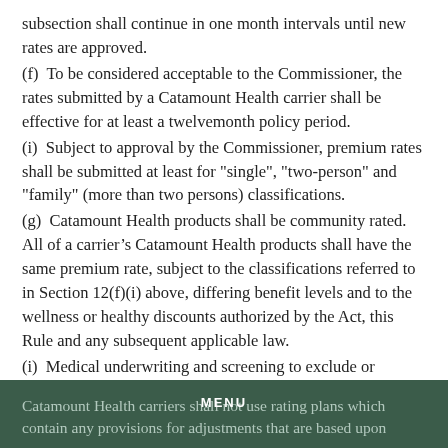subsection shall continue in one month intervals until new rates are approved.
(f)  To be considered acceptable to the Commissioner, the rates submitted by a Catamount Health carrier shall be effective for at least a twelvemonth policy period.
(i)  Subject to approval by the Commissioner, premium rates shall be submitted at least for "single", "two-person" and "family" (more than two persons) classifications.
(g)  Catamount Health products shall be community rated. All of a carrier's Catamount Health products shall have the same premium rate, subject to the classifications referred to in Section 12(f)(i) above, differing benefit levels and to the wellness or healthy discounts authorized by the Act, this Rule and any subsequent applicable law.
(i)  Medical underwriting and screening to exclude or individually rate a Catamount insured is not allowed. Catamount Health shall be rated as a single group.
Catamount Health carriers shall not use rating plans which contain any provisions for adjustments that are based upon